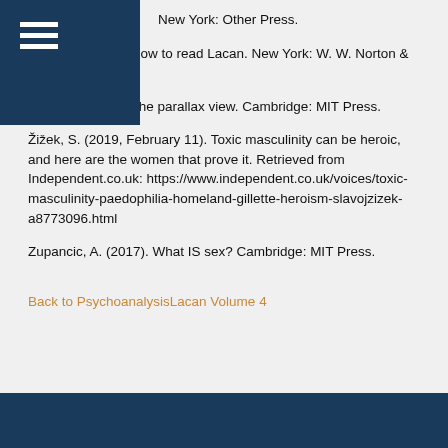New York: Other Press.
Žižek, S. (2006). How to read Lacan. New York: W. W. Norton & Company.
Žižek, S. (2009). The parallax view. Cambridge: MIT Press.
Žižek, S. (2019, February 11). Toxic masculinity can be heroic, and here are the women that prove it. Retrieved from Independent.co.uk: https://www.independent.co.uk/voices/toxic-masculinity-paedophilia-homeland-gillette-heroism-slavojzizek-a8773096.html
Zupancic, A. (2017). What IS sex? Cambridge: MIT Press.
Back to PsychoanalysisLacan Volume 4